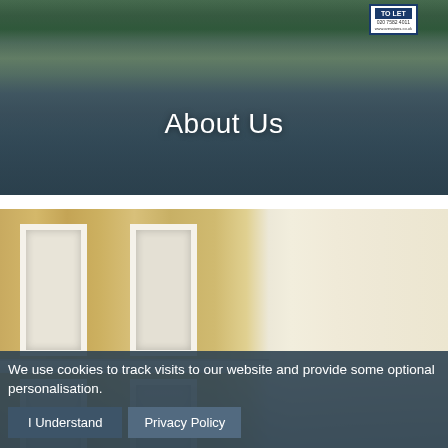[Figure (photo): Photograph of a London residential street with iron railings, tropical plants, steps, and a 'To Let' estate agent board visible]
About Us
[Figure (photo): Close-up photograph of a Georgian-style building facade showing white sash windows set into yellow London brick with white stucco cornice detail]
We use cookies to track visits to our website and provide some optional personalisation.
I Understand
Privacy Policy